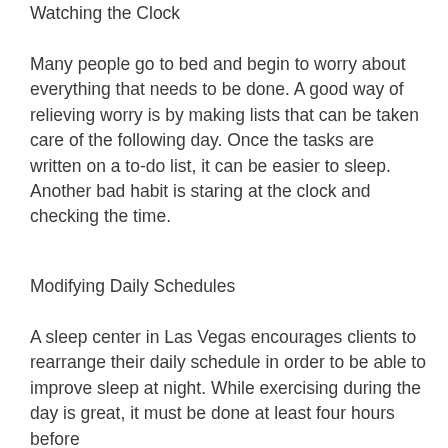Watching the Clock
Many people go to bed and begin to worry about everything that needs to be done. A good way of relieving worry is by making lists that can be taken care of the following day. Once the tasks are written on a to-do list, it can be easier to sleep. Another bad habit is staring at the clock and checking the time.
Modifying Daily Schedules
A sleep center in Las Vegas encourages clients to rearrange their daily schedule in order to be able to improve sleep at night. While exercising during the day is great, it must be done at least four hours before